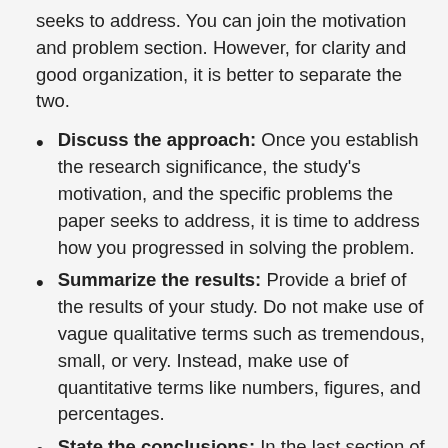seeks to address. You can join the motivation and problem section. However, for clarity and good organization, it is better to separate the two.
Discuss the approach: Once you establish the research significance, the study's motivation, and the specific problems the paper seeks to address, it is time to address how you progressed in solving the problem.
Summarize the results: Provide a brief of the results of your study. Do not make use of vague qualitative terms such as tremendous, small, or very. Instead, make use of quantitative terms like numbers, figures, and percentages.
State the conclusions: In the last section of the abstract, give a short